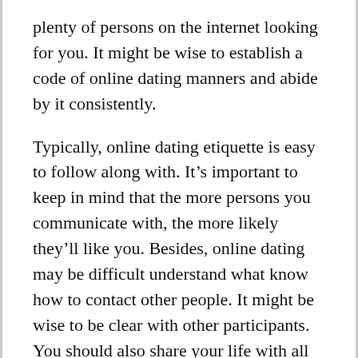plenty of persons on the internet looking for you. It might be wise to establish a code of online dating manners and abide by it consistently.
Typically, online dating etiquette is easy to follow along with. It’s important to keep in mind that the more persons you communicate with, the more likely they’ll like you. Besides, online dating may be difficult understand what know how to contact other people. It might be wise to be clear with other participants. You should also share your life with all your matches. Should you be in a relationship, you should be genuine about your intentions and the reasons for the relationship.
You will find other social grace rules just for online dating. It’s best to be mindful and don’t ask for personal information ahead of time. You shouldn’t look for it mainly because it’s impolite.